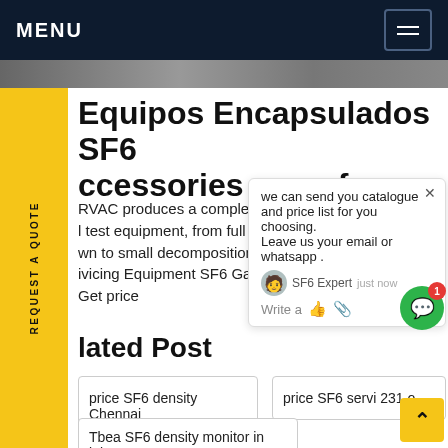MENU
[Figure (screenshot): Website navigation bar with MENU text and hamburger icon on dark navy background, plus a partial image strip below]
Equipos Encapsulados SF6 ccessories manufc...
RVAC produces a complete line ... very l test equipment, from full sized g... er wn to small decomposition detec... s ivicing Equipment SF6 Gas Re... U– Get price
we can send you catalogue and price list for you choosing.
Leave us your email or whatsapp .
SF6 Expert  just now
Write a
lated Post
price SF6 density Chennai
price SF6 servi 231 o
Tbea SF6 density monitor in jakarta